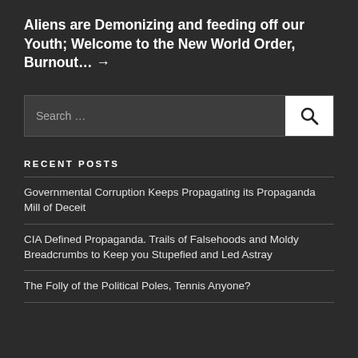Aliens are Demonizing and feeding off our Youth; Welcome to the New World Order, Burnout… →
[Figure (other): Search bar with text input field labeled 'Search …' and a white search button with magnifying glass icon]
RECENT POSTS
Governmental Corruption Keeps Propagating its Propaganda Mill of Deceit
CIA Defined Propaganda. Trails of Falsehoods and Moldy Breadcrumbs to Keep you Stupefied and Led Astray
The Folly of the Political Poles, Tennis Anyone?